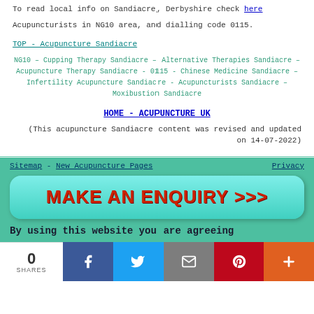To read local info on Sandiacre, Derbyshire check here
Acupuncturists in NG10 area, and dialling code 0115.
TOP - Acupuncture Sandiacre
NG10 – Cupping Therapy Sandiacre – Alternative Therapies Sandiacre – Acupuncture Therapy Sandiacre - 0115 - Chinese Medicine Sandiacre – Infertility Acupuncture Sandiacre - Acupuncturists Sandiacre – Moxibustion Sandiacre
HOME - ACUPUNCTURE UK
(This acupuncture Sandiacre content was revised and updated on 14-07-2022)
Sitemap - New Acupuncture Pages   Privacy
[Figure (other): MAKE AN ENQUIRY >>> button in red bold text on cyan/turquoise rounded rectangle background]
By using this website you are agreeing
0 SHARES
[Figure (other): Social share bar with Facebook, Twitter, Email, Pinterest, and More buttons]